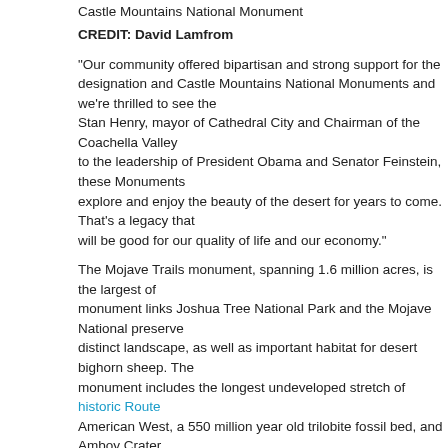Castle Mountains National Monument
CREDIT: David Lamfrom
“Our community offered bipartisan and strong support for the designation and Castle Mountains National Monuments and we’re thrilled to see the Stan Henry, mayor of Cathedral City and Chairman of the Coachella Valley to the leadership of President Obama and Senator Feinstein, these Monuments explore and enjoy the beauty of the desert for years to come. That’s a legacy that will be good for our quality of life and our economy.”
The Mojave Trails monument, spanning 1.6 million acres, is the largest of the three. The monument links Joshua Tree National Park and the Mojave National preserve and protects a distinct landscape, as well as important habitat for desert bighorn sheep. The monument includes the longest undeveloped stretch of historic Route 66 in the American West, a 550 million year old trilobite fossil bed, and Amboy Crater.
Also connected to the Mojave National preserve, Castle Mountains monument features the historic gold mining ghost town of Hart, and vast Native American archeological sites.
Sand to Snow monument stretches from the Sonoran Desert to Mount San Jacinto, the state’s tallest alpine mountain. It also includes 25 miles of the Pacific Crest Trail, a national scenic trail that runs from Canada to Mexico.
[Figure (photo): Sand to Snow National Monument image placeholder]
Sand to Snow National Monument.
CREDIT: Frazier Haney